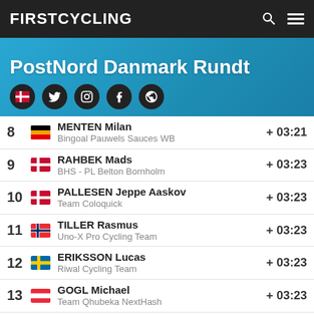FIRSTCYCLING
PostNord Danmark Rundt
| Pos | Country | Rider | Time |
| --- | --- | --- | --- |
| 8 | BEL | MENTEN Milan
Bingoal Pauwels Sauces WB | + 03:21 |
| 9 | DEN | RAHBEK Mads
BHS - PL Belton Bornholm | + 03:23 |
| 10 | DEN | PALLESEN Jeppe Aaskov
Team Coloquick | + 03:23 |
| 11 | NOR | TILLER Rasmus
Uno-X Pro Cycling Team | + 03:23 |
| 12 | SWE | ERIKSSON Lucas
Riwal Cycling Team | + 03:23 |
| 13 | AUT | GOGL Michael
Team Qhubeka NextHash | + 03:23 |
| 14 | FRA | BERNARD Julien
Trek-Segafredo | + 03:36 |
| 15 | DEN | ANDERSEN Søren Kragh
Team DSM | + 03:36 |
| 16 | FRA | CÔTÉ Pier André |  |